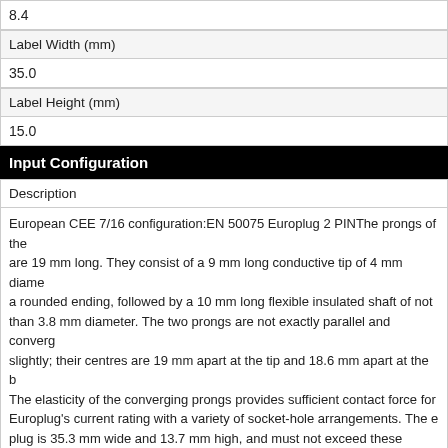| 8.4 |
| Label Width (mm) |
| --- |
| 35.0 |
| Label Height (mm) |
| --- |
| 15.0 |
Input Configuration
| Description |
| --- |
| European CEE 7/16 configuration:EN 50075 Europlug 2 PINThe prongs of the are 19 mm long. They consist of a 9 mm long conductive tip of 4 mm diame a rounded ending, followed by a 10 mm long flexible insulated shaft of not than 3.8 mm diameter. The two prongs are not exactly parallel and converg slightly; their centres are 19 mm apart at the tip and 18.6 mm apart at the b The elasticity of the converging prongs provides sufficient contact force for Europlug's current rating with a variety of socket-hole arrangements. The e plug is 35.3 mm wide and 13.7 mm high, and must not exceed these dimen within 18 mm behind its front plane (this allows for the recesses on many E socket types). The left and right side of the plug are formed by surfaces tha 45° relative to the horizontal plan. |
[Figure (engineering-diagram): Partial engineering diagram showing dimension annotations with +0.5 marking visible at bottom of page]